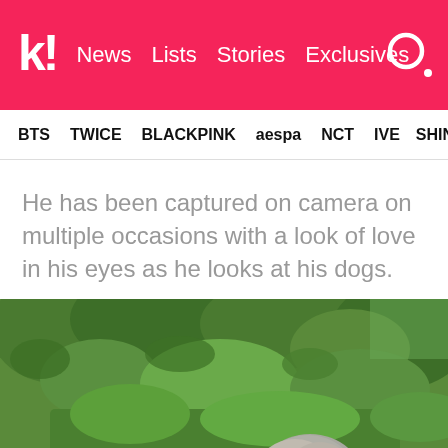k! News Lists Stories Exclusives
BTS TWICE BLACKPINK aespa NCT IVE SHIN
He has been captured on camera on multiple occasions with a look of love in his eyes as he looks at his dogs.
[Figure (photo): A person with gray hair bending down in a lush green garden, viewed from above/behind, wearing a gray shirt.]